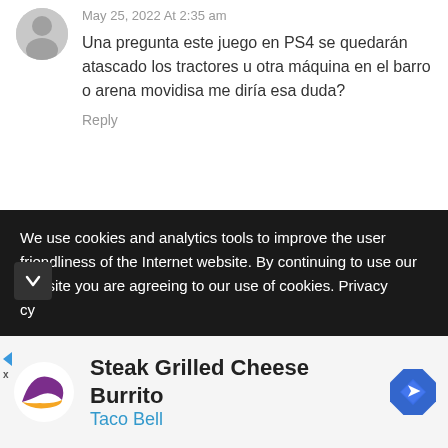May 25, 2022 At 2:35 am
Una pregunta este juego en PS4 se quedarán atascado los tractores u otra máquina en el barro o arena movidisa me diría esa duda?
Reply
Francisco Javier Revuelta Diaz
May 25, 2022 At 2:35 am
A mí me gusta y no hay que hacer mucho caso de ellos
We use cookies and analytics tools to improve the user friendliness of the Internet website. By continuing to use our website you are agreeing to our use of cookies. Privacy cy
Steak Grilled Cheese Burrito
Taco Bell